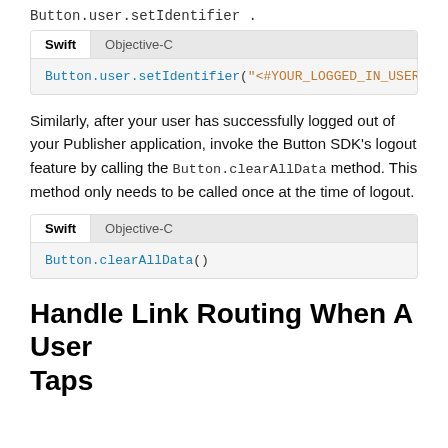Button.user.setIdentifier .
[Figure (screenshot): Code block with Swift and Objective-C tabs showing: Button.user.setIdentifier("<#YOUR_LOGGED_IN_USERS...]
Similarly, after your user has successfully logged out of your Publisher application, invoke the Button SDK's logout feature by calling the Button.clearAllData method. This method only needs to be called once at the time of logout.
[Figure (screenshot): Code block with Swift and Objective-C tabs showing: Button.clearAllData()]
Handle Link Routing When A User Taps